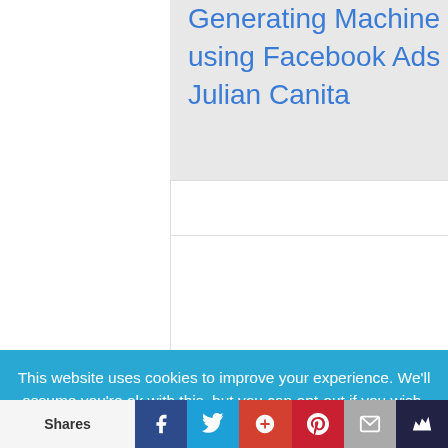Generating Machine using Facebook Ads by Julian Canita
[Figure (other): BUY NOW button on dark blue background]
[Figure (other): HitSend product row with PREMIUM label on dark blue]
This website uses cookies to improve your experience. We'll assume you're ok with this, but you can opt-out if you wish.
Shares
[Figure (other): Social share bar: Facebook, Twitter, Google+, Pinterest, Email, Crown icons]